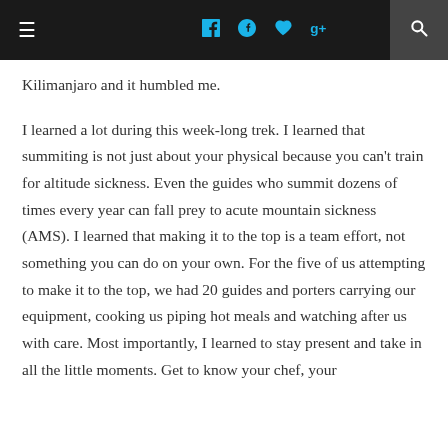≡  f  ⊕  ♥  g+  🔍
Kilimanjaro and it humbled me.
I learned a lot during this week-long trek. I learned that summiting is not just about your physical because you can't train for altitude sickness. Even the guides who summit dozens of times every year can fall prey to acute mountain sickness (AMS). I learned that making it to the top is a team effort, not something you can do on your own. For the five of us attempting to make it to the top, we had 20 guides and porters carrying our equipment, cooking us piping hot meals and watching after us with care. Most importantly, I learned to stay present and take in all the little moments. Get to know your chef, your